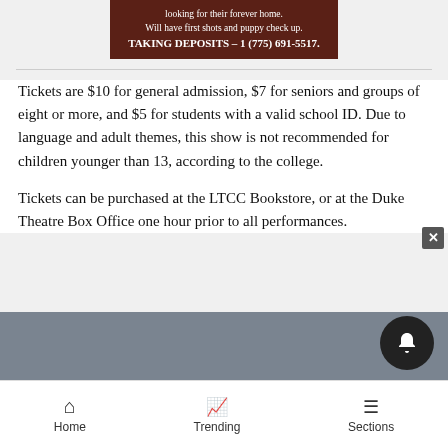[Figure (other): Brown advertisement banner with white text about puppies for adoption, taking deposits phone number 1 (775) 691-5517]
Tickets are $10 for general admission, $7 for seniors and groups of eight or more, and $5 for students with a valid school ID. Due to language and adult themes, this show is not recommended for children younger than 13, according to the college.
Tickets can be purchased at the LTCC Bookstore, or at the Duke Theatre Box Office one hour prior to all performances.
Home   Trending   Sections